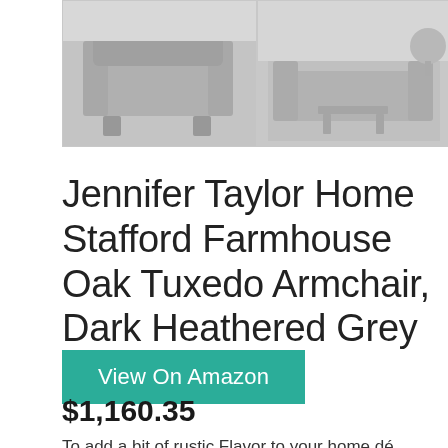[Figure (photo): Three thumbnail images of a grey tufted armchair product shown from different angles]
Jennifer Taylor Home Stafford Farmhouse Oak Tuxedo Armchair, Dark Heathered Grey
View On Amazon
$1,160.35
To add a bit of rustic Flavor to your home dé